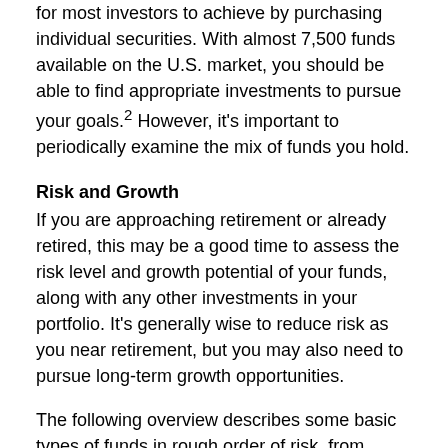for most investors to achieve by purchasing individual securities. With almost 7,500 funds available on the U.S. market, you should be able to find appropriate investments to pursue your goals.² However, it's important to periodically examine the mix of funds you hold.
Risk and Growth
If you are approaching retirement or already retired, this may be a good time to assess the risk level and growth potential of your funds, along with any other investments in your portfolio. It's generally wise to reduce risk as you near retirement, but you may also need to pursue long-term growth opportunities.
The following overview describes some basic types of funds in rough order of risk, from lowest to highest. Although performance is never guaranteed, risk and growth generally have an inverse relationship. Lower-risk investments typically have low to moderate growth potential, while investments seeking to achieve higher returns come with a higher level of risk.